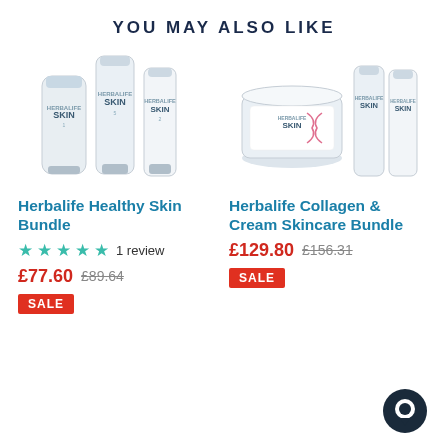YOU MAY ALSO LIKE
[Figure (photo): Herbalife Healthy Skin Bundle product image showing three white skincare bottles/tubes]
Herbalife Healthy Skin Bundle
★★★★★ 1 review
£77.60 £89.64
SALE
[Figure (photo): Herbalife Collagen & Cream Skincare Bundle product image showing a jar and two white bottles]
Herbalife Collagen & Cream Skincare Bundle
£129.80 £156.31
SALE